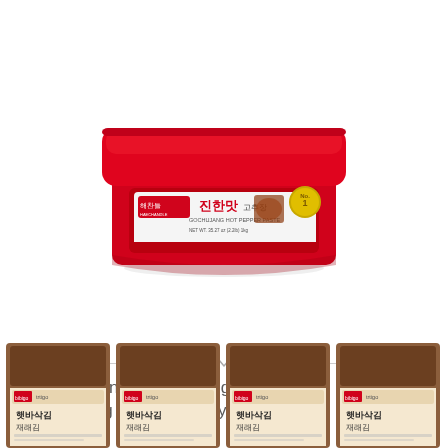[Figure (photo): Red rectangular container of CJ Haechandle Gochujang Hot Pepper Paste 1Kg with Korean text and No.1 badge on lid]
Cj Haechandle Gochujang, Hot Pepper Paste, 1Kg (Korean Spicy Red Chile Past..
$22.25
[Figure (photo): Four brown packages of Korean seaweed (김) product with Korean text '햇바삭김 재래김' and Bibigo/trtigo branding, partially cropped at bottom of page]